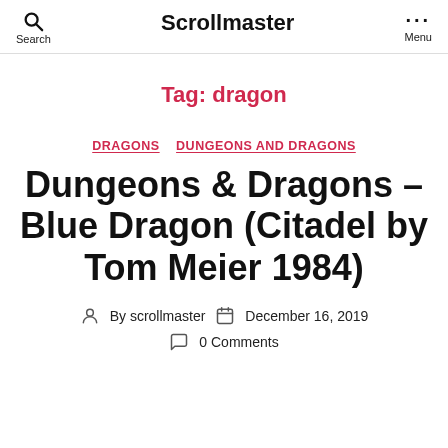Search  Scrollmaster  Menu
Tag: dragon
DRAGONS  DUNGEONS AND DRAGONS
Dungeons & Dragons – Blue Dragon (Citadel by Tom Meier 1984)
By scrollmaster  December 16, 2019  0 Comments